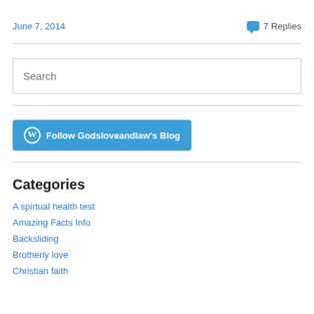June 7, 2014
7 Replies
[Figure (other): Search input box with placeholder text 'Search']
[Figure (other): Follow button: Follow Godsloveandlaw's Blog with WordPress icon]
Categories
A spirtual health test
Amazing Facts Info
Backsliding
Brotherly love
Christian faith